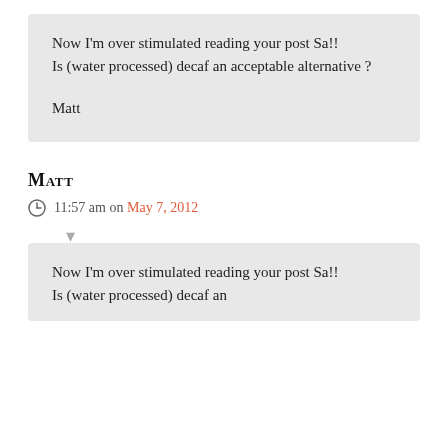Now I'm over stimulated reading your post Sa!!
Is (water processed) decaf an acceptable alternative ?

Matt
Matt
11:57 am on May 7, 2012
Now I'm over stimulated reading your post Sa!!
Is (water processed) decaf an